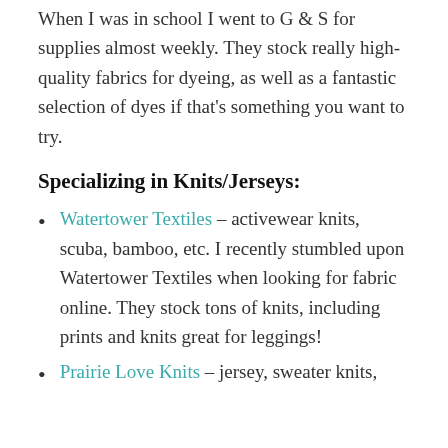When I was in school I went to G & S for supplies almost weekly. They stock really high-quality fabrics for dyeing, as well as a fantastic selection of dyes if that's something you want to try.
Specializing in Knits/Jerseys:
Watertower Textiles – activewear knits, scuba, bamboo, etc. I recently stumbled upon Watertower Textiles when looking for fabric online. They stock tons of knits, including prints and knits great for leggings!
Prairie Love Knits – jersey, sweater knits,